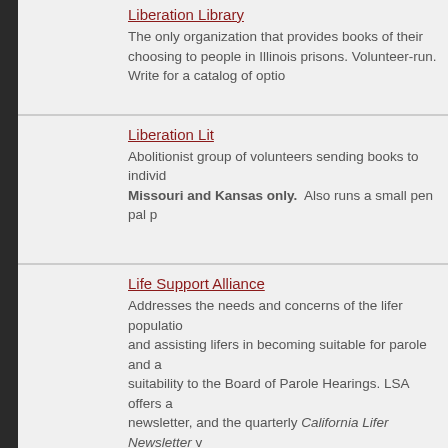Liberation Library
The only organization that provides books of their choosing to people in Illinois prisons. Volunteer-run. Write for a catalog of options.
Liberation Lit
Abolitionist group of volunteers sending books to individuals. Missouri and Kansas only.  Also runs a small pen pal program.
Life Support Alliance
Addresses the needs and concerns of the lifer population and assisting lifers in becoming suitable for parole and a suitability to the Board of Parole Hearings. LSA offers a newsletter, and the quarterly California Lifer Newsletter which covers the latest published and unpublished state and federal case issues, parole board news, legislation and articles on prison and correctional issues of interest to prisoners and their families. It contains 50 - 70 pages. Subscription rates are: Inmates, for 2 yrs, $90 for 3 yrs. Free individuals, $99 per year, $... Serves Califonia only.
Lopez Books